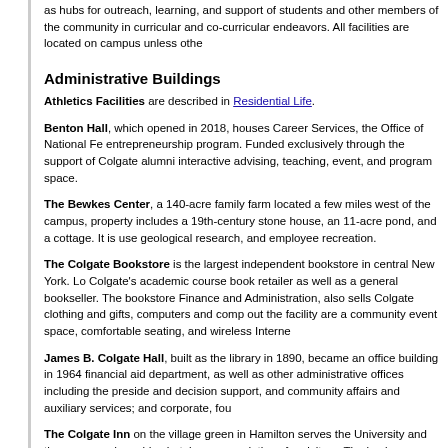as hubs for outreach, learning, and support of students and other members of the community in curricular and co-curricular endeavors. All facilities are located on campus unless othe
Administrative Buildings
Athletics Facilities are described in Residential Life.
Benton Hall, which opened in 2018, houses Career Services, the Office of National Fe entrepreneurship program. Funded exclusively through the support of Colgate alumni interactive advising, teaching, event, and program space.
The Bewkes Center, a 140-acre family farm located a few miles west of the campus, property includes a 19th-century stone house, an 11-acre pond, and a cottage. It is used geological research, and employee recreation.
The Colgate Bookstore is the largest independent bookstore in central New York. Colgate's academic course book retailer as well as a general bookseller. The bookstore Finance and Administration, also sells Colgate clothing and gifts, computers and comp out the facility are a community event space, comfortable seating, and wireless Interne
James B. Colgate Hall, built as the library in 1890, became an office building in 1964 financial aid department, as well as other administrative offices including the president and decision support, and community affairs and auxiliary services; and corporate, fou
The Colgate Inn on the village green in Hamilton serves the University and the comm and provides hotel accommodations for visitors. The inn is operated by a private hotel LLC.
Colgate Memorial Chapel is used for chapel and University Church services...